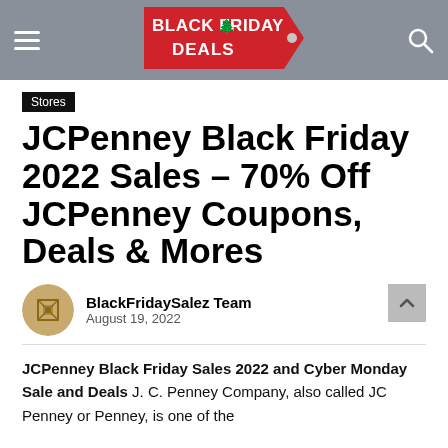BLACK FRIDAY DEALS
Stores
JCPenney Black Friday 2022 Sales – 70% Off JCPenney Coupons, Deals & Mores
BlackFridaySalez Team
August 19, 2022
JCPenney Black Friday Sales 2022 and Cyber Monday Sale and Deals J. C. Penney Company, also called JC Penney or Penney, is one of the